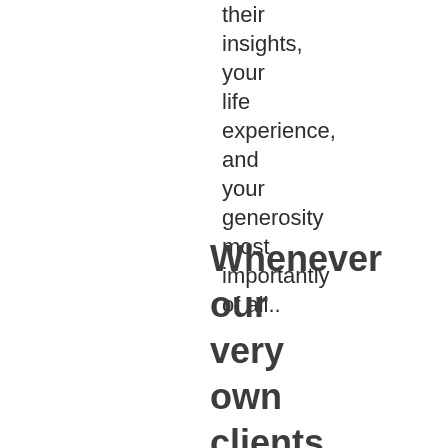their insights, your life experience, and your generosity most importantly of all..
Whenever our very own clients query us and